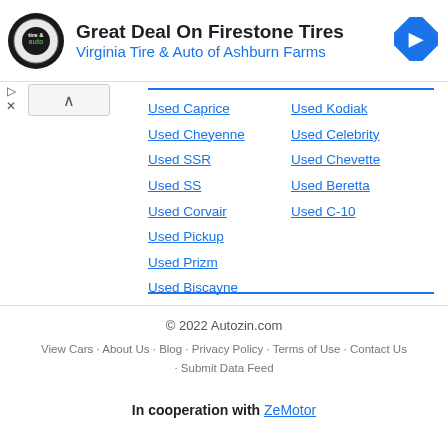[Figure (other): Advertisement banner for Virginia Tire & Auto of Ashburn Farms promoting Great Deal On Firestone Tires, with circular logo and navigation icon]
Used Caprice
Used Cheyenne
Used SSR
Used SS
Used Corvair
Used Pickup
Used Prizm
Used Biscayne
Used Kodiak
Used Celebrity
Used Chevette
Used Beretta
Used C-10
© 2022 Autozin.com
View Cars · About Us · Blog · Privacy Policy · Terms of Use · Contact Us · Submit Data Feed
In cooperation with ZeMotor